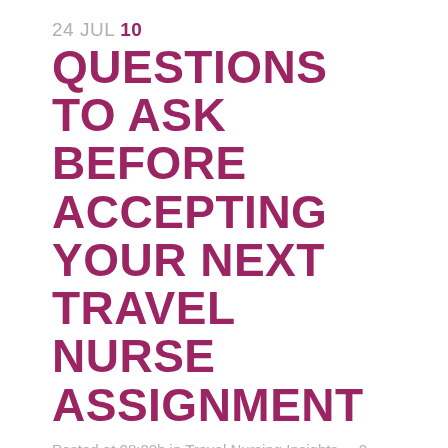24 JUL 10
10 QUESTIONS TO ASK BEFORE ACCEPTING YOUR NEXT TRAVEL NURSE ASSIGNMENT
Posted at 08:00h in Travel Nursing Insights · 0 Likes
Travel clinicians may feel overwhelmed with questions